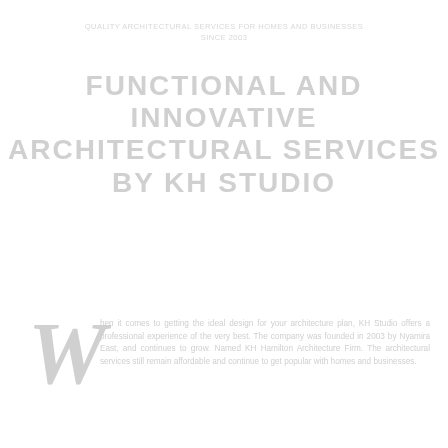QUALITY ARCHITECTURAL SERVICES FOR HOMES AND BUSINESSES
SINCE 2003
FUNCTIONAL AND INNOVATIVE ARCHITECTURAL SERVICES BY KH STUDIO
When it comes to getting the ideal design for your architecture plan, KH Studio offers a professional experience of the very best. The company was founded in 2003 by Nyamira East, and continues to grow. Named KH Hamilton Architecture Firm. The architectural services still remain affordable and continue to get popular with homes and businesses.